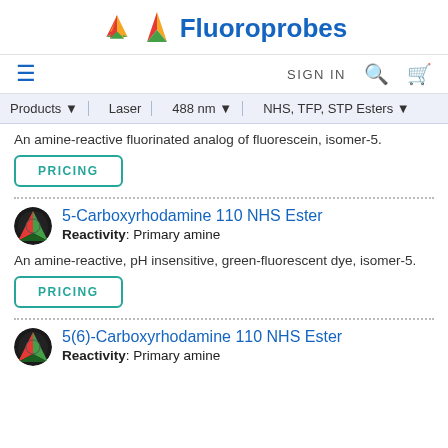Fluoroprobes
SIGN IN
Products | Laser | 488 nm | NHS, TFP, STP Esters
An amine-reactive fluorinated analog of fluorescein, isomer-5.
PRICING
5-Carboxyrhodamine 110 NHS Ester
Reactivity: Primary amine
An amine-reactive, pH insensitive, green-fluorescent dye, isomer-5.
PRICING
5(6)-Carboxyrhodamine 110 NHS Ester
Reactivity: Primary amine